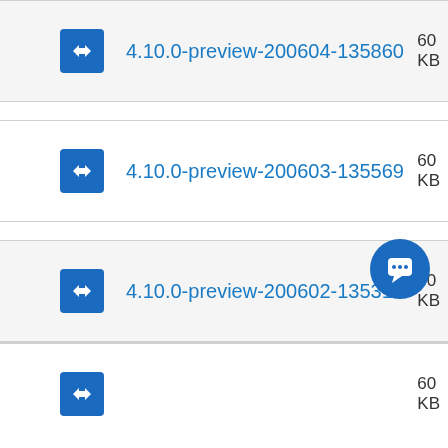4.10.0-preview-200604-135860
4.10.0-preview-200603-135569
4.10.0-preview-200602-135315